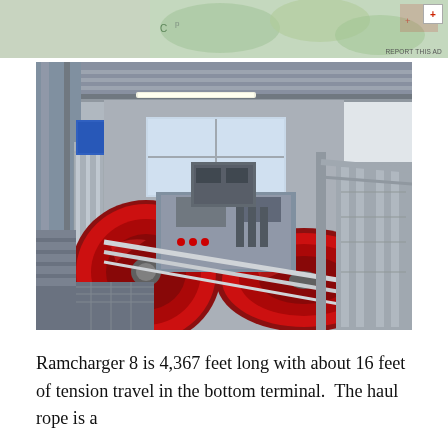[Figure (photo): Interior of a ski lift terminal (Ramcharger 8) showing large red bull wheels, steel framing, walkways, arched roof structure, and mechanical equipment for haul rope drive system.]
Ramcharger 8 is 4,367 feet long with about 16 feet of tension travel in the bottom terminal.  The haul rope is a